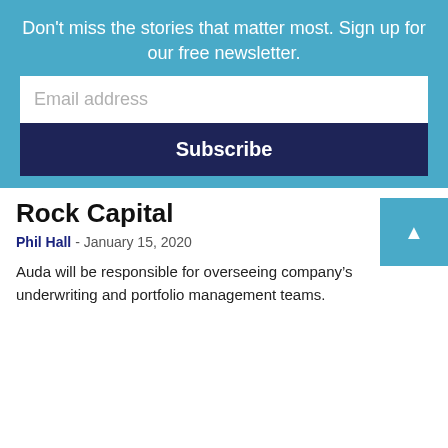Don't miss the stories that matter most. Sign up for our free newsletter.
Email address
Subscribe
Rock Capital
Phil Hall - January 15, 2020
Auda will be responsible for overseeing company's underwriting and portfolio management teams.